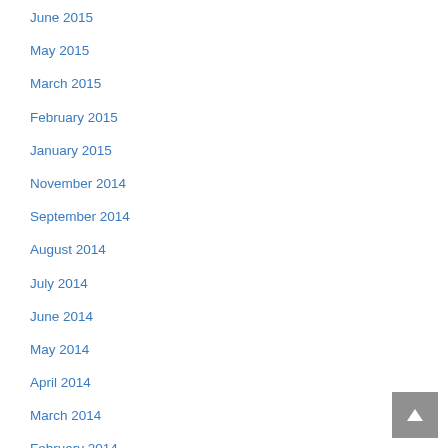June 2015
May 2015
March 2015
February 2015
January 2015
November 2014
September 2014
August 2014
July 2014
June 2014
May 2014
April 2014
March 2014
February 2014